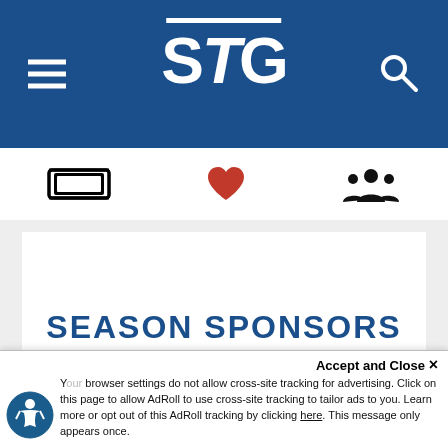STG
[Figure (screenshot): Navigation icon row with ticket icon, heart/favorite icon, and group/people icon]
SEASON SPONSORS
VENUE
Accept and Close ×
Your browser settings do not allow cross-site tracking for advertising. Click on this page to allow AdRoll to use cross-site tracking to tailor ads to you. Learn more or opt out of this AdRoll tracking by clicking here. This message only appears once.